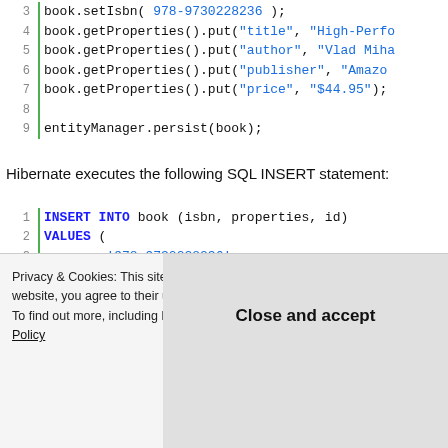[Figure (screenshot): Code block showing Java lines 3-9: book.setIsbn, book.getProperties().put calls for title, author, publisher, price, then entityManager.persist(book)]
Hibernate executes the following SQL INSERT statement:
[Figure (screenshot): SQL code block lines 1-5: INSERT INTO book (isbn, properties, id) VALUES ( '978-9730228236', '"author"=>"Vlad Mihalcea", "price"=>"$44.95", "publisher"=>"Amazon...]
Privacy & Cookies: This site uses cookies. By continuing to use this website, you agree to their use. To find out more, including how to control cookies, see here: Cookie Policy
Close and accept